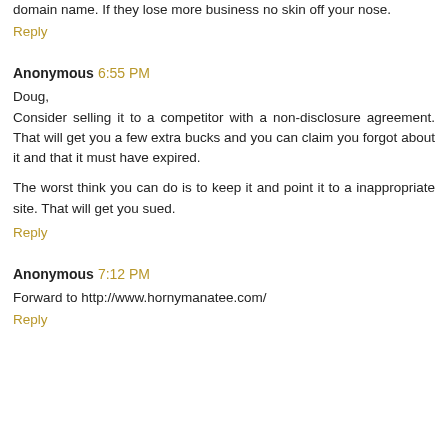domain name. If they lose more business no skin off your nose.
Reply
Anonymous 6:55 PM
Doug,
Consider selling it to a competitor with a non-disclosure agreement. That will get you a few extra bucks and you can claim you forgot about it and that it must have expired.
The worst think you can do is to keep it and point it to a inappropriate site. That will get you sued.
Reply
Anonymous 7:12 PM
Forward to http://www.hornymanatee.com/
Reply